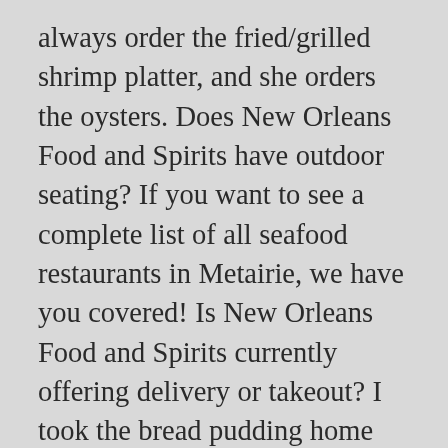always order the fried/grilled shrimp platter, and she orders the oysters. Does New Orleans Food and Spirits have outdoor seating? If you want to see a complete list of all seafood restaurants in Metairie, we have you covered! Is New Orleans Food and Spirits currently offering delivery or takeout? I took the bread pudding home which was also delicious. I don't like when restaurants wait till all food is ready, so that was a pleasant surprise. At least all the orders were right. Restaurant: Staff wore mask, but the tables weren't really spaced. 2330 Lapalco Blvd Harvey, LA 70058 Uber. New Orleans Food and Spirits, Metairie Picture: nice location - Check out Tripadvisor members' 705...